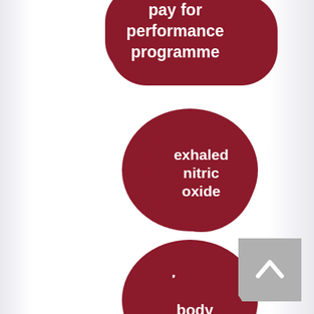[Figure (infographic): Series of dark red rounded pill/bubble shaped tags with white text listing medical keywords: pay for performance programme, exhaled nitric oxide, body mass index, pulmonary function, children, airway, adiposity, atopy. A grey scroll-to-top button is in the bottom right corner.]